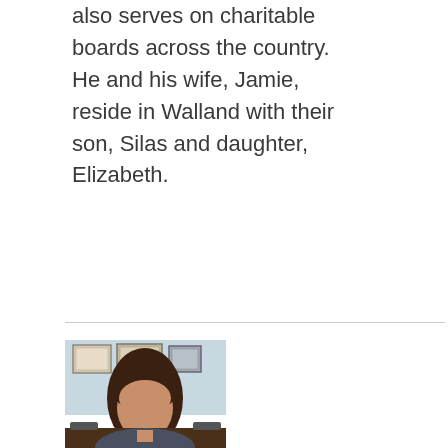also serves on charitable boards across the country.  He and his wife, Jamie, reside in Walland with their son, Silas and daughter, Elizabeth.
[Figure (photo): Portrait photo of a woman with long dark brown hair, seated in front of framed certificates/pictures on a wall, with a desk visible in the foreground.]